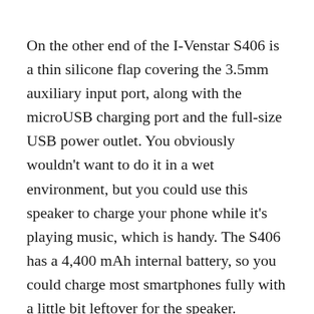On the other end of the I-Venstar S406 is a thin silicone flap covering the 3.5mm auxiliary input port, along with the microUSB charging port and the full-size USB power outlet. You obviously wouldn't want to do it in a wet environment, but you could use this speaker to charge your phone while it's playing music, which is handy. The S406 has a 4,400 mAh internal battery, so you could charge most smartphones fully with a little bit leftover for the speaker.
Speaking of power, when you're just using the speaker as a speaker, the battery is awesome. I've been using it while in the shower and getting ready (~30-45 min) every day for about 2 weeks and haven't had to charge